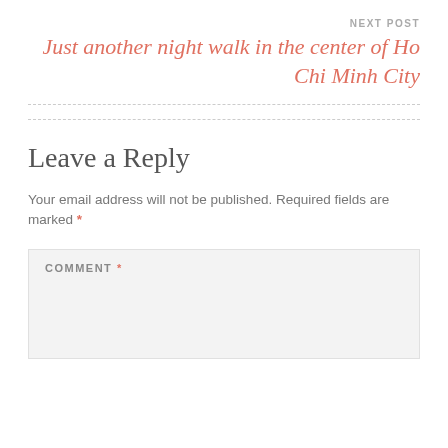NEXT POST
Just another night walk in the center of Ho Chi Minh City
Leave a Reply
Your email address will not be published. Required fields are marked *
COMMENT *